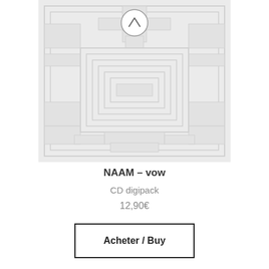[Figure (illustration): Album cover artwork showing a geometric/abstract line art design in light gray on a lighter gray background, with nested angular patterns forming a symmetrical motif. A circular arrow-up button appears at the top center of the image.]
NAAM – vow
CD digipack
12,90€
Acheter / Buy